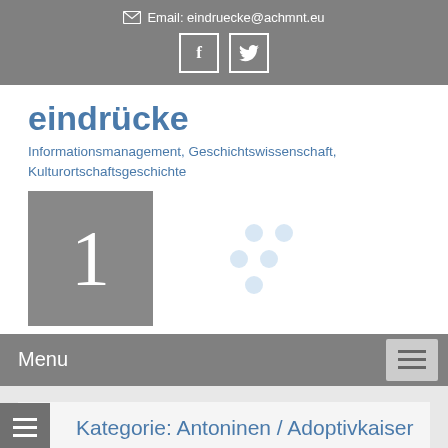Email: eindruecke@achmnt.eu
eindrücke
Informationsmanagement, Geschichtswissenschaft, Kulturortschaftsgeschichte
[Figure (logo): Grey box with white numeral 1 and decorative dots pattern]
Menu
Kategorie: Antoninen / Adoptivkaiser